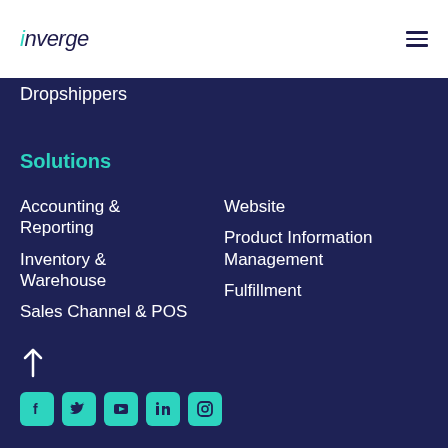inverge
Dropshippers
Solutions
Accounting & Reporting
Inventory & Warehouse
Sales Channel & POS
Website
Product Information Management
Fulfillment
[Figure (infographic): Social media icons: Facebook, Twitter, YouTube, LinkedIn, Instagram with teal rounded square backgrounds, and an upward arrow above them]